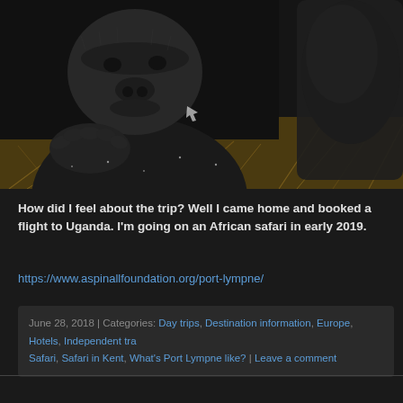[Figure (photo): Close-up photo of a gorilla face and hands resting on hay/straw, dark background. A second partial gorilla image is visible to the right.]
How did I feel about the trip? Well I came home and booked a flight to Uganda. I'm going on an African safari in early 2019.
https://www.aspinallfoundation.org/port-lympne/
June 28, 2018 | Categories: Day trips, Destination information, Europe, Hotels, Independent tra... Safari, Safari in Kent, What's Port Lympne like? | Leave a comment